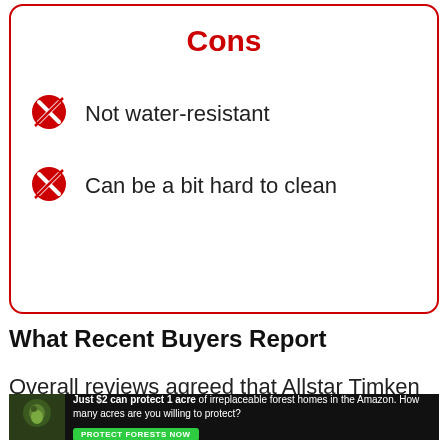Cons
Not water-resistant
Can be a bit hard to clean
What Recent Buyers Report
Overall reviews agreed that Allstar Timken has an excellent online
[Figure (photo): Advertisement banner: Just $2 can protect 1 acre of irreplaceable forest homes in the Amazon. How many acres are you willing to protect? PROTECT FORESTS NOW]
↓